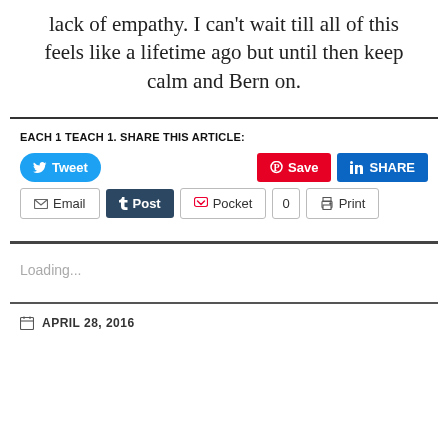lack of empathy. I can't wait till all of this feels like a lifetime ago but until then keep calm and Bern on.
EACH 1 TEACH 1. SHARE THIS ARTICLE:
[Figure (screenshot): Social sharing buttons: Tweet (Twitter), Save (Pinterest), SHARE (LinkedIn), Email, Post (Tumblr), Pocket with count 0, Print]
Loading...
APRIL 28, 2016